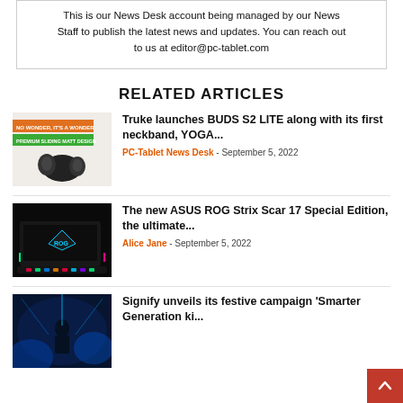This is our News Desk account being managed by our News Staff to publish the latest news and updates. You can reach out to us at editor@pc-tablet.com
RELATED ARTICLES
[Figure (photo): Product image of Truke BUDS S2 LITE earbuds with orange banner reading 'NO WONDER, IT'S A WONDER' and green banner 'PREMIUM SLIDING MATT DESIGN']
Truke launches BUDS S2 LITE along with its first neckband, YOGA...
PC-Tablet News Desk - September 5, 2022
[Figure (photo): ASUS ROG Strix Scar 17 laptop with RGB lighting on dark background]
The new ASUS ROG Strix Scar 17 Special Edition, the ultimate...
Alice Jane - September 5, 2022
[Figure (photo): Signify festive campaign event with blue ambient lighting]
Signify unveils its festive campaign 'Smarter Generation ki...